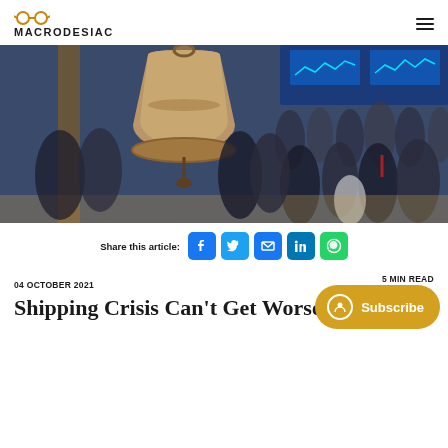MACRODESIAC
[Figure (photo): Stock exchange floor with a large bronze bell in the foreground and blurred traders/visitors in the background, with financial screens visible.]
Share this article:
04 OCTOBER 2021    5 MIN READ
Shipping Crisis Can't Get Worse, Can It?